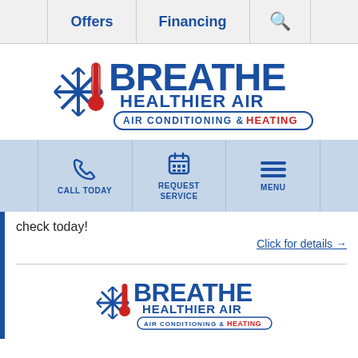Offers | Financing | Search
[Figure (logo): Breathe Healthier Air – Air Conditioning & Heating logo with snowflake and thermometer icon]
[Figure (infographic): Action bar with phone icon (CALL TODAY), calendar icon (REQUEST SERVICE), and menu icon (MENU)]
check today!
Click for details →
[Figure (logo): Breathe Healthier Air – Air Conditioning & Heating logo (smaller, repeated at bottom)]